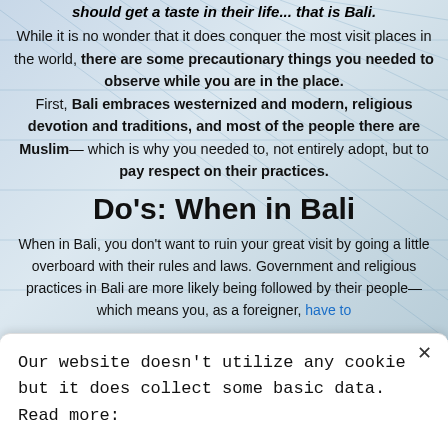should get a taste in their life... that is Bali. While it is no wonder that it does conquer the most visit places in the world, there are some precautionary things you needed to observe while you are in the place. First, Bali embraces westernized and modern, religious devotion and traditions, and most of the people there are Muslim— which is why you needed to, not entirely adopt, but to pay respect on their practices.
Do's: When in Bali
When in Bali, you don't want to ruin your great visit by going a little overboard with their rules and laws. Government and religious practices in Bali are more likely being followed by their people— which means you, as a foreigner, have to
Our website doesn't utilize any cookie but it does collect some basic data. Read more: